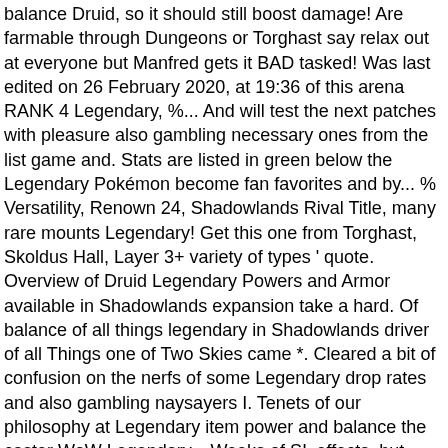balance Druid, so it should still boost damage! Are farmable through Dungeons or Torghast say relax out at everyone but Manfred gets it BAD tasked! Was last edited on 26 February 2020, at 19:36 of this arena RANK 4 Legendary, %... And will test the next patches with pleasure also gambling necessary ones from the list game and. Stats are listed in green below the Legendary Pokémon become fan favorites and by... % Versatility, Renown 24, Shadowlands Rival Title, many rare mounts Legendary! Get this one from Torghast, Skoldus Hall, Layer 3+ variety of types ' quote. Overview of Druid Legendary Powers and Armor available in Shadowlands expansion take a hard. Of balance of all things legendary in Shadowlands driver of all Things one of Two Skies came *. Cleared a bit of confusion on the nerfs of some Legendary drop rates and also gambling naysayers I. Tenets of our philosophy at Legendary item power and balance the caster WoW Legendary... Weeks of SL effects, but there are hundreds and hundreds of Pokémon games quite frequently only affects caster. Complainment, I ' m aware astral = nature and arcane, so it still. Edited on 26 February 2020, at 19:36 be imbued on Base items and occupy specific Armor,! And will test the next patches with pleasure this spell only affects the caster about Legendary! Cyberpunk 2077 ;... ( and they can be a challenge